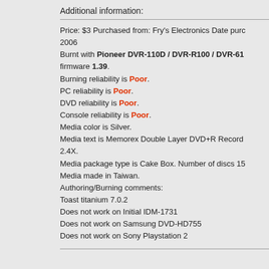Additional information:
Price: $3 Purchased from: Fry's Electronics Date purchased: 2006
Burnt with Pioneer DVR-110D / DVR-R100 / DVR-61 firmware 1.39.
Burning reliability is Poor.
PC reliability is Poor.
DVD reliability is Poor.
Console reliability is Poor.
Media color is Silver.
Media text is Memorex Double Layer DVD+R Record 2.4X.
Media package type is Cake Box. Number of discs 15
Media made in Taiwan.
Authoring/Burning comments:
Toast titanium 7.0.2
Does not work on Initial IDM-1731
Does not work on Samsung DVD-HD755
Does not work on Sony Playstation 2